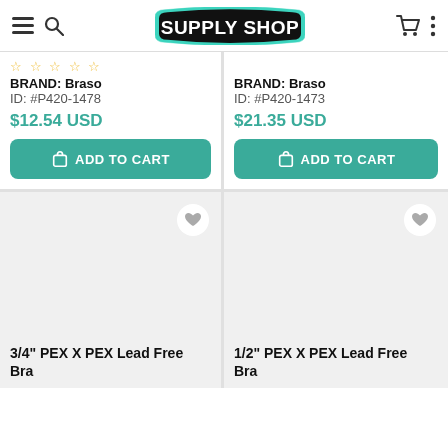Supply Shop
BRAND: Braso
ID: #P420-1478
$12.54 USD
BRAND: Braso
ID: #P420-1473
$21.35 USD
[Figure (illustration): Product image placeholder area for 3/4" PEX X PEX Lead Free Brass Gold Union]
3/4" PEX X PEX Lead Free Brass Gold Union Be...
[Figure (illustration): Product image placeholder area for 1/2" PEX X PEX Lead Free Brass Gold Union]
1/2" PEX X PEX Lead Free Brass Gold Union Be...